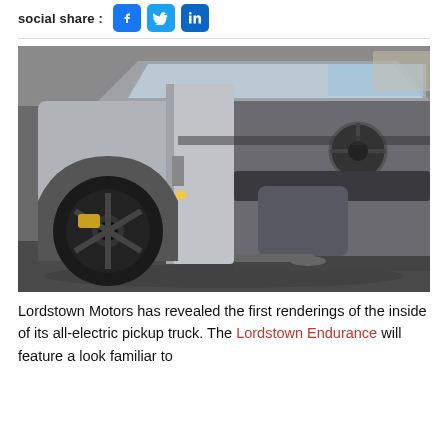social share :
[Figure (photo): Lordstown Endurance electric pickup truck with driver door open showing interior, large black alloy wheel visible, silver exterior, photographed outdoors]
Lordstown Motors has revealed the first renderings of the inside of its all-electric pickup truck. The Lordstown Endurance will feature a look familiar to